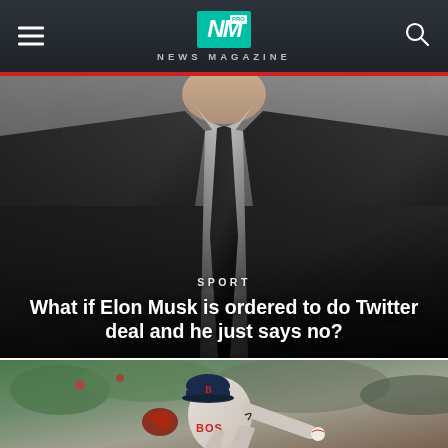NM PRO NEWS MAGAZINE
[Figure (photo): Man in dark suit and tie, photo used as article background]
SPORT
What if Elon Musk is ordered to do Twitter deal and he just says no?
[Figure (photo): Boston Red Sox baseball pitcher in action, white uniform with BOS text visible, crowd in background]